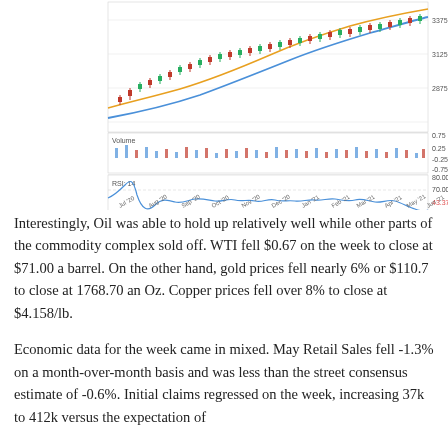[Figure (continuous-plot): Financial chart showing price data (candlestick/line) with moving averages (blue and orange lines) and volume panel, plus RSI-14 indicator panel. X-axis shows dates from Jul '20 to Jun '21. Price axis shows 2875.00, 3125.00, 3375.00. RSI axis shows 10.00, 30.00, 43.37, 70.00, 80.00. Volume axis shows -0.75, -0.25, 0.25, 0.75. Label 'Volume' and 'RSI: 14' shown in panels.]
Interestingly, Oil was able to hold up relatively well while other parts of the commodity complex sold off.  WTI fell $0.67 on the week to close at $71.00 a barrel.  On the other hand, gold prices fell nearly 6% or $110.7 to close at 1768.70 an Oz.  Copper prices fell over 8% to close at $4.158/lb.
Economic data for the week came in mixed.  May Retail Sales fell -1.3% on a month-over-month basis and was less than the street consensus estimate of -0.6%.  Initial claims regressed on the week, increasing 37k to 412k versus the expectation of